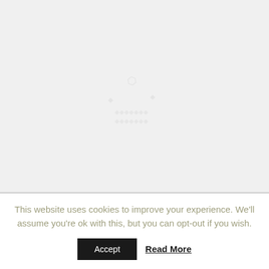[Figure (other): Light gray background area with faint watermark/logo pattern in the center]
This website uses cookies to improve your experience. We'll assume you're ok with this, but you can opt-out if you wish.
Accept
Read More